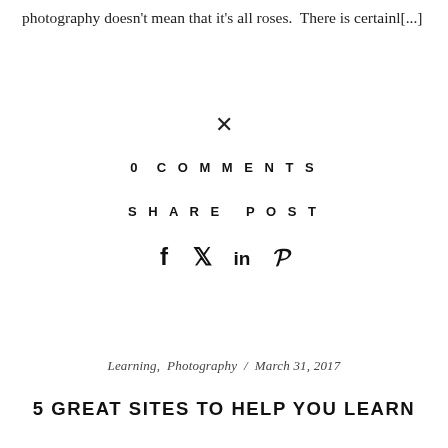photography doesn't mean that it's all roses.  There is certainl[...]
×
0 COMMENTS
SHARE POST
[Figure (other): Social share icons: Facebook (f), Twitter (bird), LinkedIn (in), Pinterest (P)]
Learning,  Photography  /  March 31, 2017
5 GREAT SITES TO HELP YOU LEARN